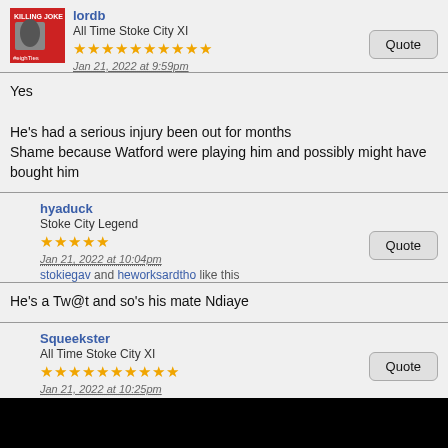lordb
All Time Stoke City XI
★★★★★★★★★★
Jan 21, 2022 at 9:59pm
Yes

He's had a serious injury been out for months
Shame because Watford were playing him and possibly might have bought him
hyaduck
Stoke City Legend
★★★★★
Jan 21, 2022 at 10:04pm
stokiegav and heworksardtho like this
He's a Tw@t and so's his mate Ndiaye
Squeekster
All Time Stoke City XI
★★★★★★★★★★
Jan 21, 2022 at 10:25pm